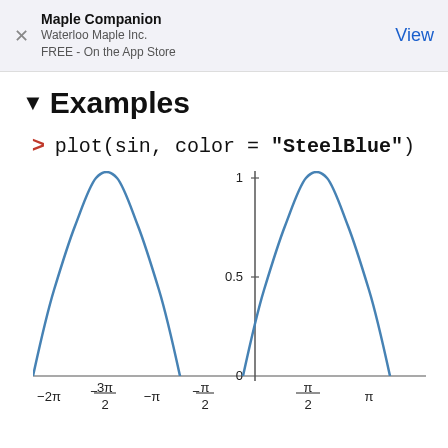Maple Companion
Waterloo Maple Inc.
FREE - On the App Store
▼Examples
> plot(sin, color = "SteelBlue")
[Figure (continuous-plot): Plot of sin(x) in SteelBlue color, showing x-axis labels: -2π, -3π/2, -π, -π/2, 0, π/2, π, and y-axis labels: 0, 0.5, 1. Two full arches of the sine curve are visible above the x-axis.]